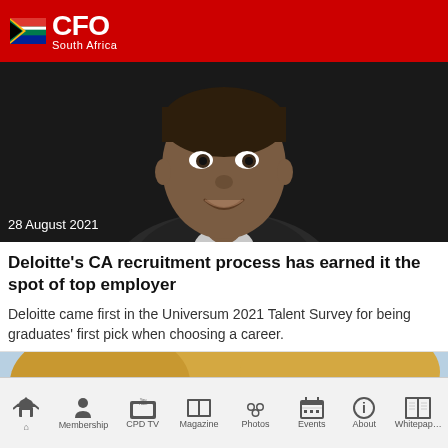CFO South Africa
[Figure (photo): Portrait photo of a smiling young Black man in a suit against a dark background, with date overlay '28 August 2021']
Deloitte's CA recruitment process has earned it the spot of top employer
Deloitte came first in the Universum 2021 Talent Survey for being graduates' first pick when choosing a career.
[Figure (photo): Partial photo of a person with curly blonde hair and glasses, cropped near top of image]
Home | Membership | CPD TV | Magazine | Photos | Events | About | Whitepaper